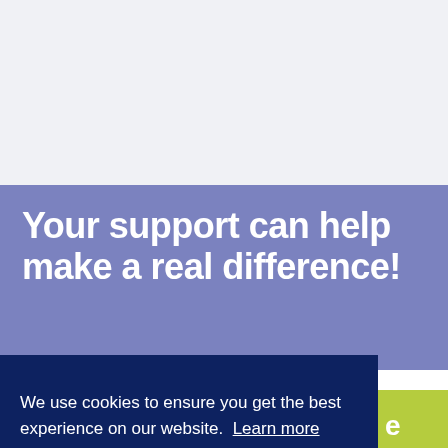Your support can help make a real difference!
We use cookies to ensure you get the best experience on our website.  Learn more
Ok